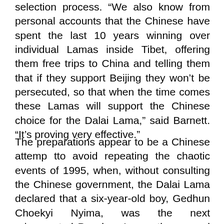selection process. “We also know from personal accounts that the Chinese have spent the last 10 years winning over individual Lamas inside Tibet, offering them free trips to China and telling them that if they support Beijing they won’t be persecuted, so that when the time comes these Lamas will support the Chinese choice for the Dalai Lama,” said Barnett. “It’s proving very effective.”
The preparations appear to be a Chinese attemp tto avoid repeating the chaotic events of 1995, when, without consulting the Chinese government, the Dalai Lama declared that a six-year-old boy, Gedhun Choekyi Nyima, was the next reincarnated Panchen Lama, the second most important figure in Tibetan Buddhism. Three days later, Nyima disappeared and has not been seen since. The Panchen Lama that the Chinese